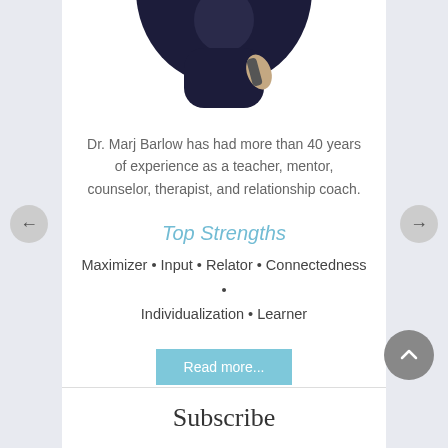[Figure (photo): Circular cropped profile photo of Dr. Marj Barlow wearing a dark navy sweater, partially visible at top of card]
Dr. Marj Barlow has had more than 40 years of experience as a teacher, mentor, counselor, therapist, and relationship coach.
Top Strengths
Maximizer • Input • Relator • Connectedness • Individualization • Learner
Read more...
Subscribe